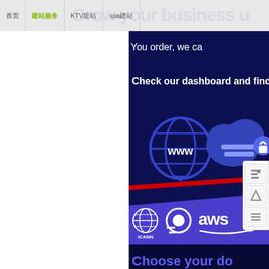首页 | 建站服务 | KTV建站 | spa建站 | ...
Grow your business u...
You order, we ca...
Check our dashboard and find ...
[Figure (illustration): Globe/WWW icon in dark blue]
[Figure (illustration): Cloud with lock icon in dark blue]
[Figure (logo): ICANN logo, DigitalOcean logo, AWS logo on purple diagonal band]
Choose your do...